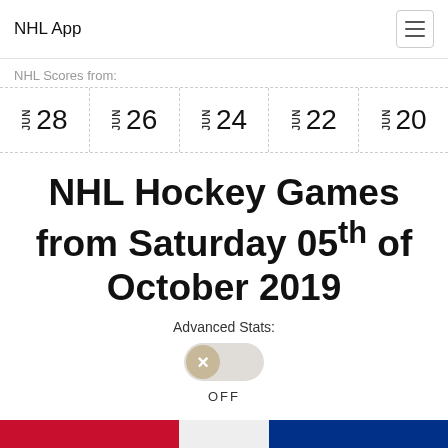NHL App
NHL Scores from:
[Figure (other): Date selector row showing JUN 28, JUN 26, JUN 24, JUN 22, JUN 20]
NHL Hockey Games from Saturday 05th of October 2019
Advanced Stats:
[Figure (other): Toggle switch in OFF position]
OFF